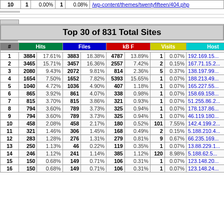| # | Hits |  | Files |  | kB F |  | Visits |  | Host |
| --- | --- | --- | --- | --- | --- | --- | --- | --- | --- |
| 10 | 1 | 0.00% | 1 | 0.08% | /wp-content/themes/twentyfifteen/404.php |
Top 30 of 831 Total Sites
| # | Hits |  | Files |  | kB F |  | Visits |  | Host |
| --- | --- | --- | --- | --- | --- | --- | --- | --- | --- |
| 1 | 3884 | 17.61% | 3883 | 18.38% | 4787 | 13.89% | 1 | 0.07% | 192.169.15... |
| 2 | 3465 | 15.71% | 3457 | 16.36% | 2557 | 7.42% | 2 | 0.15% | 167.71.15.2... |
| 3 | 2080 | 9.43% | 2072 | 9.81% | 814 | 2.36% | 5 | 0.37% | 138.197.99... |
| 4 | 1654 | 7.50% | 1652 | 7.82% | 5393 | 15.65% | 1 | 0.07% | 188.213.49... |
| 5 | 1040 | 4.72% | 1036 | 4.90% | 407 | 1.18% | 1 | 0.07% | 165.227.55... |
| 6 | 865 | 3.92% | 861 | 4.07% | 338 | 0.98% | 1 | 0.07% | 158.69.158... |
| 7 | 815 | 3.70% | 815 | 3.86% | 321 | 0.93% | 1 | 0.07% | 51.255.86.2... |
| 8 | 794 | 3.60% | 789 | 3.73% | 325 | 0.94% | 1 | 0.07% | 178.137.86... |
| 9 | 794 | 3.60% | 789 | 3.73% | 325 | 0.94% | 1 | 0.07% | 46.119.180... |
| 10 | 458 | 2.08% | 458 | 2.17% | 180 | 0.52% | 101 | 7.55% | 142.4.199.2... |
| 11 | 321 | 1.46% | 306 | 1.45% | 168 | 0.49% | 2 | 0.15% | 5.188.210.4... |
| 12 | 283 | 1.28% | 276 | 1.31% | 279 | 0.81% | 9 | 0.67% | 66.235.169... |
| 13 | 250 | 1.13% | 46 | 0.22% | 119 | 0.35% | 1 | 0.07% | 13.88.229.1... |
| 14 | 246 | 1.12% | 241 | 1.14% | 385 | 1.12% | 120 | 8.98% | 5.188.62.5... |
| 15 | 150 | 0.68% | 149 | 0.71% | 106 | 0.31% | 1 | 0.07% | 123.148.20... |
| 16 | 150 | 0.68% | 149 | 0.71% | 106 | 0.31% | 1 | 0.07% | 123.148.24... |